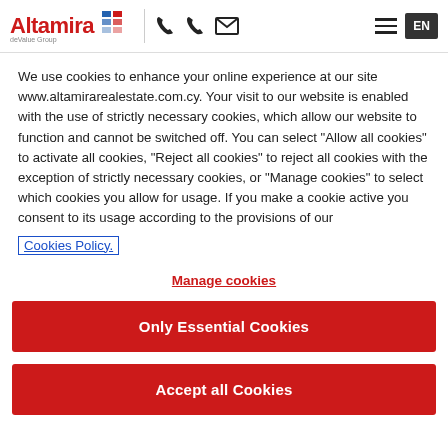Altamira deValue Group — navigation header with logo, phone icons, email icon, hamburger menu, EN language button
We use cookies to enhance your online experience at our site www.altamirarealestate.com.cy. Your visit to our website is enabled with the use of strictly necessary cookies, which allow our website to function and cannot be switched off. You can select "Allow all cookies" to activate all cookies, "Reject all cookies" to reject all cookies with the exception of strictly necessary cookies, or "Manage cookies" to select which cookies you allow for usage. If you make a cookie active you consent to its usage according to the provisions of our Cookies Policy.
Manage cookies
Only Essential Cookies
Accept all Cookies